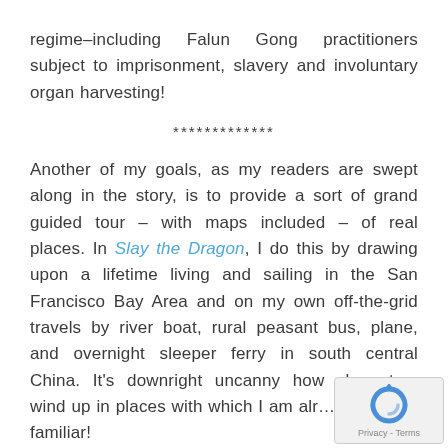regime–including Falun Gong practitioners subject to imprisonment, slavery and involuntary organ harvesting!
*************
Another of my goals, as my readers are swept along in the story, is to provide a sort of grand guided tour – with maps included – of real places. In Slay the Dragon, I do this by drawing upon a lifetime living and sailing in the San Francisco Bay Area and on my own off-the-grid travels by river boat, rural peasant bus, plane, and overnight sleeper ferry in south central China. It's downright uncanny how characters wind up in places with which I am already familiar!